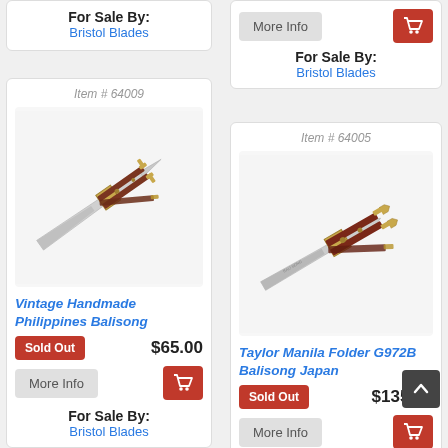For Sale By: Bristol Blades
Item # 64009
[Figure (photo): Vintage balisong butterfly knife with brown/maroon handles and gold-toned hardware, blade open]
Vintage Handmade Philippines Balisong
Sold Out  $65.00
More Info [cart button]
For Sale By: Bristol Blades
More Info [cart button]
For Sale By: Bristol Blades
Item # 64005
[Figure (photo): Taylor Manila Folder G972B balisong butterfly knife with dark red handles and gold hardware, blade open]
Taylor Manila Folder G972B Balisong Japan
Sold Out  $135.00
More Info [cart button]